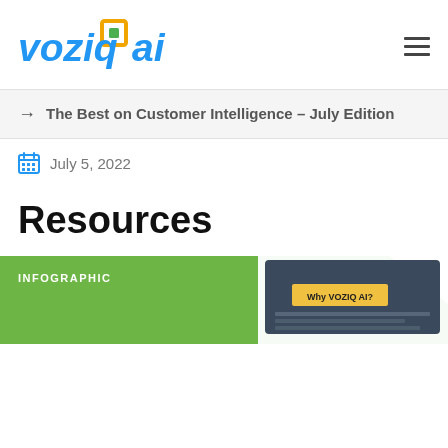voziq ai
The Best on Customer Intelligence – July Edition
July 5, 2022
Resources
[Figure (infographic): Infographic card with green background showing 'INFOGRAPHIC' label and a laptop thumbnail showing 'Why VOZIQ AI?' screen]